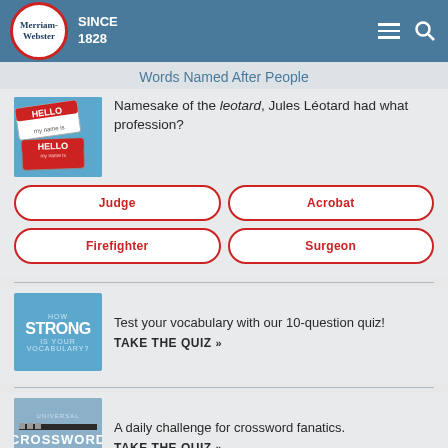Merriam-Webster SINCE 1828
Words Named After People
[Figure (photo): Hello my name is name tag stickers]
Namesake of the leotard, Jules Léotard had what profession?
Judge
Acrobat
Firefighter
Surgeon
[Figure (screenshot): How Strong is Your Vocabulary? promotional image]
Test your vocabulary with our 10-question quiz!
TAKE THE QUIZ »
[Figure (screenshot): Universal Crossword promotional image]
A daily challenge for crossword fanatics.
TAKE THE QUIZ »